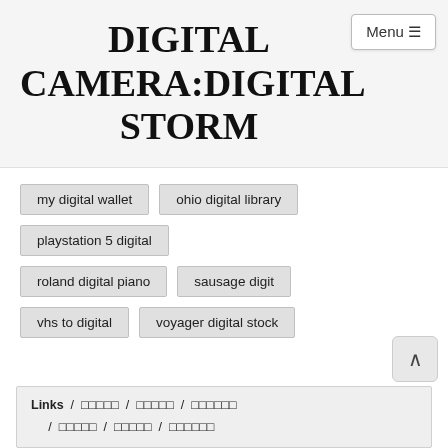DIGITAL CAMERA:DIGITAL STORM
my digital wallet
ohio digital library
playstation 5 digital
roland digital piano
sausage digit
vhs to digital
voyager digital stock
Links / □□□□□ / □□□□□ / □□□□□□ / □□□□□ / □□□□□ / □□□□□□